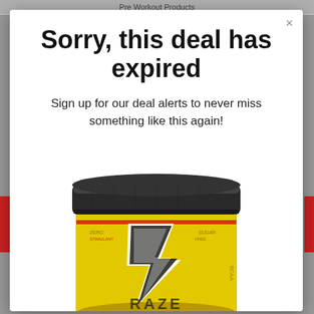Pre Workout Products
Sorry, this deal has expired
Sign up for our deal alerts to never miss something like this again!
[Figure (photo): A yellow supplement container (pre-workout) with a black screw-top lid and a large stylized 'R' lightning bolt logo on the yellow label. The bottom of the label shows partial text 'RAZE'.]